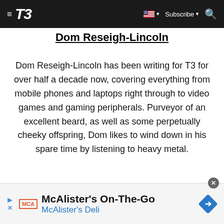T3 — Subscribe
Dom Reseigh-Lincoln
Dom Reseigh-Lincoln has been writing for T3 for over half a decade now, covering everything from mobile phones and laptops right through to video games and gaming peripherals. Purveyor of an excellent beard, as well as some perpetually cheeky offspring, Dom likes to wind down in his spare time by listening to heavy metal.
[Figure (infographic): McAlister's On-The-Go advertisement banner with MCA logo, navigation arrow icon, McAlister's Deli text]